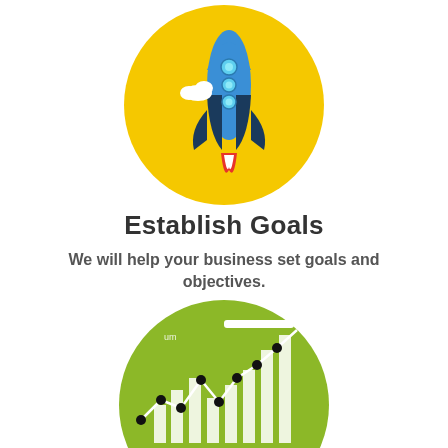[Figure (illustration): Rocket launching inside a yellow circle, with a blue rocket, white clouds, and red/white flame, on a white background.]
Establish Goals
We will help your business set goals and objectives.
[Figure (illustration): Green circle containing a combination bar and line chart icon with white bars, a white zigzag line with black dots, and a white horizontal bar at top, representing growth analytics.]